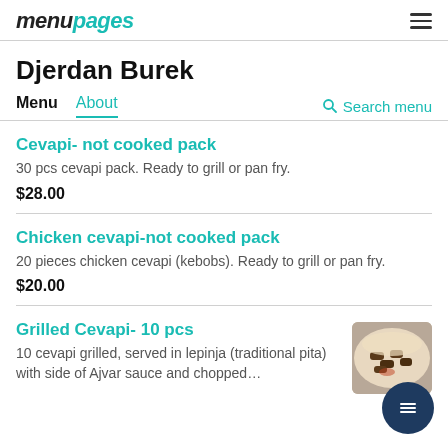menupages
Djerdan Burek
Menu   About   Search menu
Cevapi- not cooked pack
30 pcs cevapi pack. Ready to grill or pan fry.
$28.00
Chicken cevapi-not cooked pack
20 pieces chicken cevapi (kebobs). Ready to grill or pan fry.
$20.00
Grilled Cevapi- 10 pcs
10 cevapi grilled, served in lepinja (traditional pita) with side of Ajvar sauce and chopped…